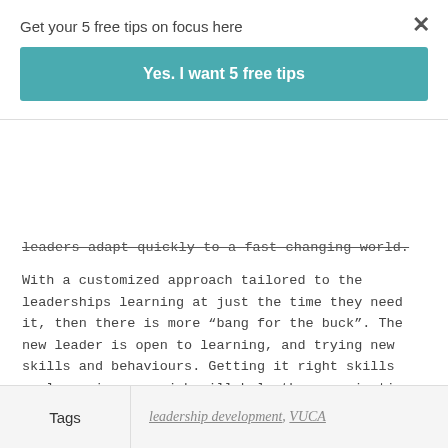Get your 5 free tips on focus here
Yes. I want 5 free tips
leaders adapt quickly to a fast changing world.
With a customized approach tailored to the leaderships learning at just the time they need it, then there is more "bang for the buck". The new leader is open to learning, and trying new skills and behaviours. Getting it right skills early on in a new job will help the organisation to be much more adaptable and flexible. It about finding the perfect teachable moment in an imperfect world.
Tags   leadership development, VUCA